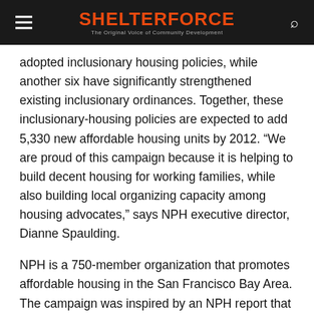SHELTERFORCE — The Original Voice of Community Development
adopted inclusionary housing policies, while another six have significantly strengthened existing inclusionary ordinances. Together, these inclusionary-housing policies are expected to add 5,330 new affordable housing units by 2012. “We are proud of this campaign because it is helping to build decent housing for working families, while also building local organizing capacity among housing advocates,” says NPH executive director, Dianne Spaulding.
NPH is a 750-member organization that promotes affordable housing in the San Francisco Bay Area. The campaign was inspired by an NPH report that analyzed the effect of inclusionary-housing policies on California’s affordable housing crisis.
The report noted that when city councils or boards of